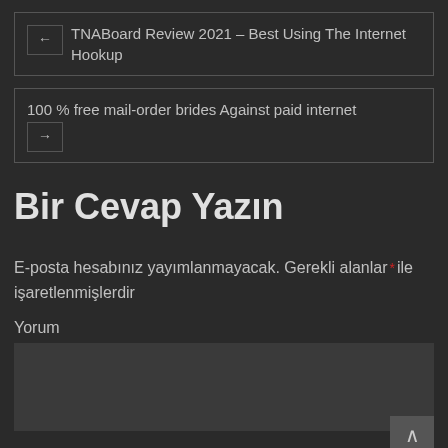← TNABoard Review 2021 – Best Using The Internet Hookup
100 % free mail-order brides Against paid internet →
Bir Cevap Yazın
E-posta hesabınız yayımlanmayacak. Gerekli alanlar * ile işaretlenmişlerdir
Yorum